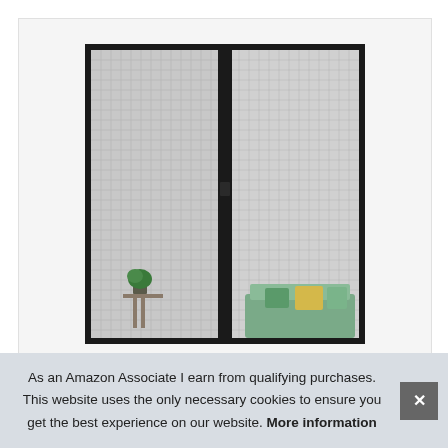[Figure (photo): A magnetic mesh screen door with a black frame, showing two panels of fine mesh fabric with a center magnetic closing strip. Through the mesh, a couch with pillows and a small side table with a plant are visible in the background.]
As an Amazon Associate I earn from qualifying purchases. This website uses the only necessary cookies to ensure you get the best experience on our website. More information